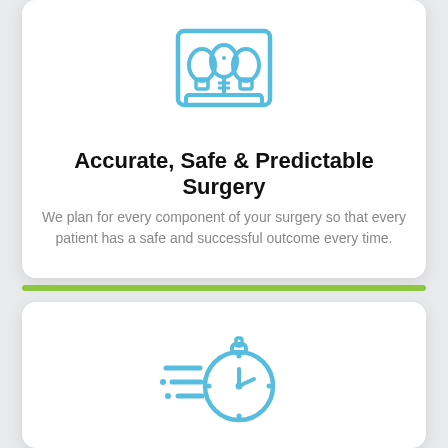[Figure (illustration): Blue outline icon of a dental implant or tooth with a screw base inside a rectangular frame]
Accurate, Safe & Predictable Surgery
We plan for every component of your surgery so that every patient has a safe and successful outcome every time.
[Figure (illustration): Blue outline icon of a fast stopwatch/speedometer with speed lines]
Short Operation & Healing Times